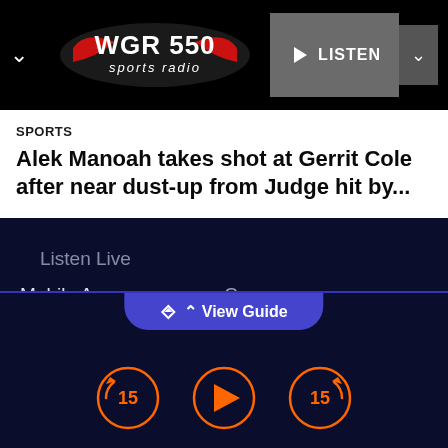[Figure (logo): WGR 550 Sports Radio logo — white oval with red swoosh, bold white text 'WGR 550' and italic 'sports radio']
SPORTS
Alek Manoah takes shot at Gerrit Cole after near dust-up from Judge hit by...
Listen Live
Mobile App
CONNECT
FAQ
1Thing
Get My PERKS
Careers
Privacy Policy
Terms of Use
Copyright Notice
Music Submission Policy
Do Not Sell My Personal Information
View Guide
[Figure (infographic): Media player controls: rewind 15 seconds button, play button, forward 15 seconds button — all orange circle outlines on dark navy background]